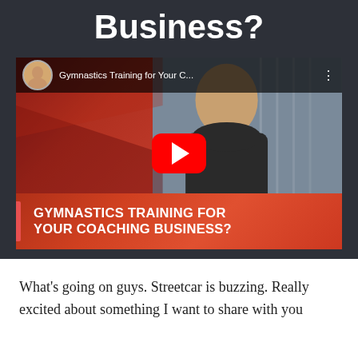Business?
[Figure (screenshot): YouTube video thumbnail for 'Gymnastics Training for Your Coaching Business?' by Healthpreneur, showing a bald man in a city street, with a red play button overlay and red banner at bottom with video title text.]
What’s going on guys. Streetcar is buzzing. Really excited about something I want to share with you